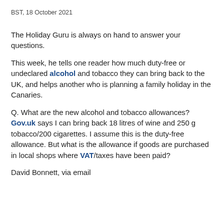BST, 18 October 2021
The Holiday Guru is always on hand to answer your questions.
This week, he tells one reader how much duty-free or undeclared alcohol and tobacco they can bring back to the UK, and helps another who is planning a family holiday in the Canaries.
Q. What are the new alcohol and tobacco allowances? Gov.uk says I can bring back 18 litres of wine and 250 g tobacco/200 cigarettes. I assume this is the duty-free allowance. But what is the allowance if goods are purchased in local shops where VAT/taxes have been paid?
David Bonnett, via email